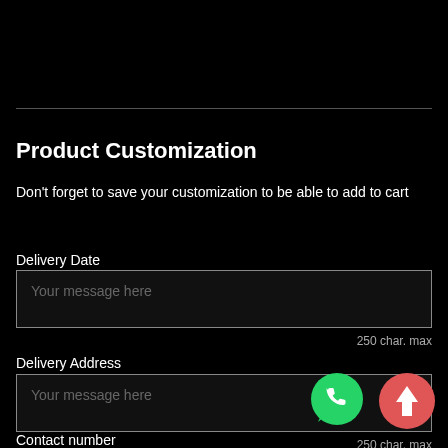Product Customization
Don't forget to save your customization to be able to add to cart
Delivery Date
Your message here
250 char. max
Delivery Address
Your message here
250 char. max
Contact number
[Figure (illustration): WhatsApp green circular button icon]
[Figure (illustration): Red circular scroll-to-top button with white upward arrow]